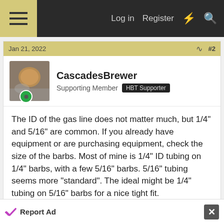Log in  Register
Jan 21, 2022   #2
CascadesBrewer
Supporting Member  HBT Supporter
The ID of the gas line does not matter much, but 1/4" and 5/16" are common. If you already have equipment or are purchasing equipment, check the size of the barbs. Most of mine is 1/4" ID tubing on 1/4" barbs, with a few 5/16" barbs. 5/16" tubing seems more "standard". The ideal might be 1/4" tubing on 5/16" barbs for a nice tight fit.
Reply
Report Ad